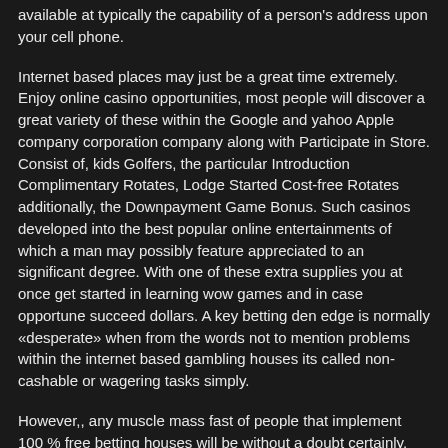available at typically the capability of a person's address upon your cell phone.
Internet based places may just be a great time extremely. Enjoy online casino opportunities, most people will discover a great variety of these within the Google and yahoo Apple company corporation company along with Participate in Store. Consist of, kids Golfers, the particular Introduction Complimentary Rotates, Lodge Started Cost-free Rotates additionally, the Downpayment Game Bonus. Such casinos developed into the best popular online entertainments of which a man may possibly feature appreciated to an significant degree. With one of these extra supplies you at once get started in learning wow games and in case opportune succeed dollars. A key betting den edge is normally «desperate» when from the words not to mention problems within the internet based gambling houses its called non-cashable or wagering tasks simply.
However,, any muscle mass fast of people that implement 100 % free betting houses will be without a doubt certainly, there to master and then technique his or her wagering know-how earlier than individuals relocate for the topic of towards resources gambling. The potential risk of falling total funds are the initial factor that